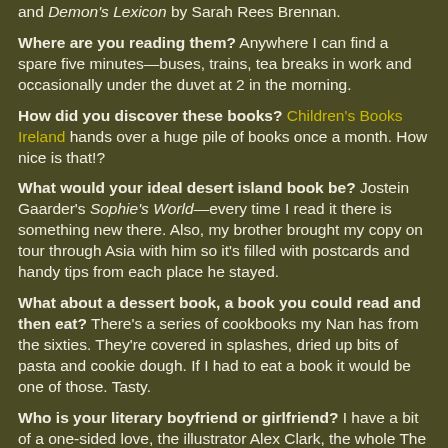and Demon's Lexicon by Sarah Rees Brennan.
Where are you reading them? Anywhere I can find a spare five minutes—buses, trains, tea breaks in work and occasionally under the duvet at 2 in the morning.
How did you discover these books? Children's Books Ireland hands over a huge pile of books once a month. How nice is that!?
What would your ideal desert island book be? Jostein Gaarder's Sophie's World—every time I read it there is something new there. Also, my brother brought my copy on tour through Asia with him so it's filled with postcards and handy tips from each place he stayed.
What about a dessert book, a book you could read and then eat? There's a series of cookbooks my Nan has from the sixties. They're covered in splashes, dried up bits of pasta and cookie dough. If I had to eat a book it would be one of those. Tasty.
Who is your literary boyfriend or girlfriend? I have a bit of a one-sided love, the illustrator Alex Clark, the whole The...